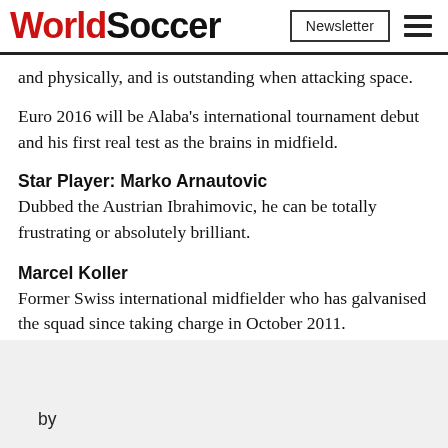WorldSoccer | Newsletter
and physically, and is outstanding when attacking space.
Euro 2016 will be Alaba's international tournament debut and his first real test as the brains in midfield.
Star Player: Marko Arnautovic
Dubbed the Austrian Ibrahimovic, he can be totally frustrating or absolutely brilliant.
Marcel Koller
Former Swiss international midfielder who has galvanised the squad since taking charge in October 2011.
by